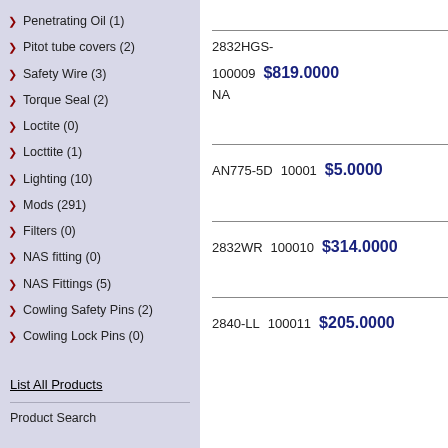Penetrating Oil (1)
Pitot tube covers (2)
Safety Wire (3)
Torque Seal (2)
Loctite (0)
Locttite (1)
Lighting (10)
Mods (291)
Filters (0)
NAS fitting (0)
NAS Fittings (5)
Cowling Safety Pins (2)
Cowling Lock Pins (0)
List All Products
Product Search
| Part | SKU | Price |
| --- | --- | --- |
| 2832HGS- | 100009 | $819.0000 |
| NA |  |  |
| AN775-5D | 10001 | $5.0000 |
| 2832WR | 100010 | $314.0000 |
| 2840-LL | 100011 | $205.0000 |